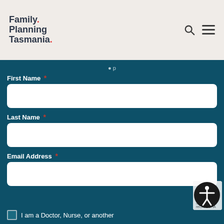Family Planning Tasmania.
First Name *
Last Name *
Email Address *
I am a Doctor, Nurse, or another